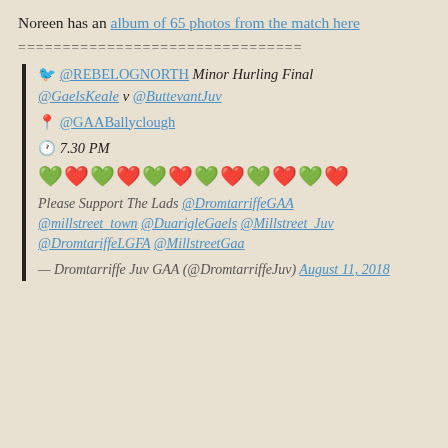Noreen has an album of 65 photos from the match here
================================
@REBELOGNORTH Minor Hurling Final @GaelsKeale v @ButtevantJuv
@GAABallyclough
7.30 PM
💚❤️💚❤️💚❤️💚❤️💚❤️💚
Please Support The Lads @DromtarriffeGAA @millstreet_town @DuarigleGaels @Millstreet_Juv @DromtariffeLGFA @MillstreetGaa
— Dromtarriffe Juv GAA (@DromtarriffeJuv) August 11, 2018